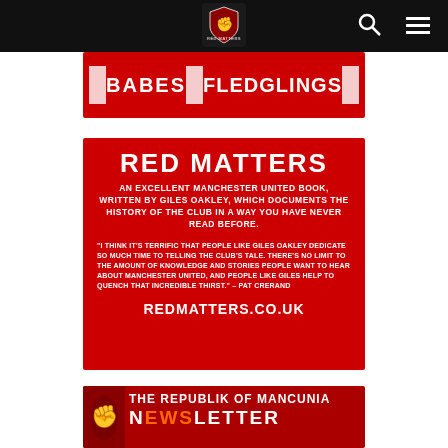Navigation bar with Red Matters logo, search icon, and menu icon
[Figure (illustration): Red banner showing 'BABES' and 'FLEDGLINGS' text with white squares (photo placeholders), partially cropped at top]
[Figure (illustration): Red Matters book advertisement on red background. Title: 'RED MATTERS'. Subtitle: 'AN EXCELLENT MANCHESTER UNITED BOOK, WRITTEN BY GILES OAKLEY, WHICH DOCUMENTS THE HISTORY OF THE CLUB IN A WAY YOU HAVE NEVER READ BEFORE.' Quote: '"I THINK IT'S TERRIFIC THAT PEOPLE LIKE GILES OAKLEY DEDICATE SO MUCH TIME TO TELLING THE CLUB'S TALE. THERE'S NO LIMIT TO THE AMOUNT OF KNOWLEDGE AND STORIES PEOPLE WANT TO HEAR ABOUT MANCHESTER UNITED, AND PEOPLE LIKE GILES HELP TO QUENCH THAT INCREDIBLE THIRST." – PAT CRERAND'. URL: REDMATTERS.CO.UK]
[Figure (illustration): The Republik of Mancunia Newsletter banner on red background with lion/fist graphic, partially shown at bottom of page]